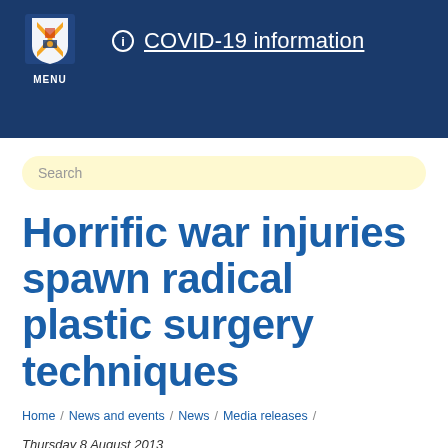MENU | COVID-19 information
Search
Horrific war injuries spawn radical plastic surgery techniques
Home / News and events / News / Media releases /
Thursday 8 August 2013
Reconstructing Faces: The Art and Wartime Surgery of Gillies